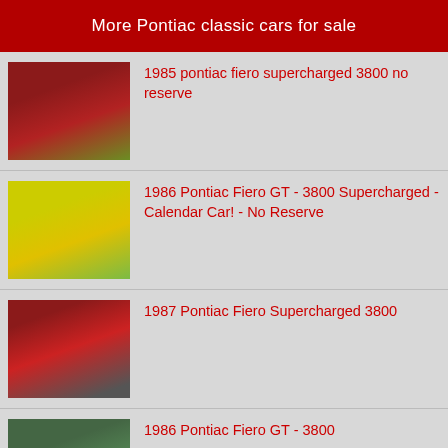More Pontiac classic cars for sale
1985 pontiac fiero supercharged 3800 no reserve
[Figure (photo): Red 1985 Pontiac Fiero parked on grass]
1986 Pontiac Fiero GT - 3800 Supercharged - Calendar Car! - No Reserve
[Figure (photo): Yellow 1986 Pontiac Fiero GT front view]
1987 Pontiac Fiero Supercharged 3800
[Figure (photo): Red 1987 Pontiac Fiero side view]
1986 Pontiac Fiero GT - 3800